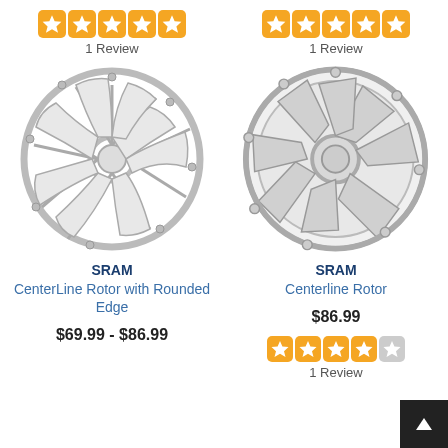[Figure (other): Five orange star rating boxes (5/5 stars) for left product]
1 Review
[Figure (photo): SRAM CenterLine Rotor with Rounded Edge - silver/grey disc brake rotor]
SRAM
CenterLine Rotor with Rounded Edge
$69.99 - $86.99
[Figure (other): Five orange star rating boxes (5/5 stars) for right product]
1 Review
[Figure (photo): SRAM Centerline Rotor - silver/grey disc brake rotor, larger size]
SRAM
Centerline Rotor
$86.99
[Figure (other): Four and a half orange star rating boxes (4.5/5 stars) for right product bottom]
1 Review